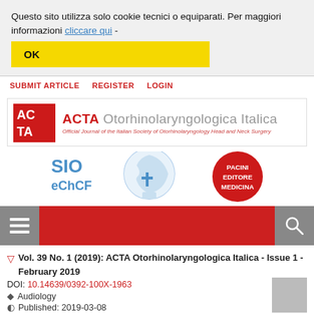Questo sito utilizza solo cookie tecnici o equiparati. Per maggiori informazioni cliccare qui -
OK
SUBMIT ARTICLE   REGISTER   LOGIN
[Figure (logo): ACTA Otorhinolaryngologica Italica journal logo with AC/TA red square logo on left and journal name and subtitle on right, plus SIO eChCF and Pacini Editore Medicina logos below]
Vol. 39 No. 1 (2019): ACTA Otorhinolaryngologica Italica - Issue 1 - February 2019
DOI: 10.14639/0392-100X-1963
Audiology
Published: 2019-03-08